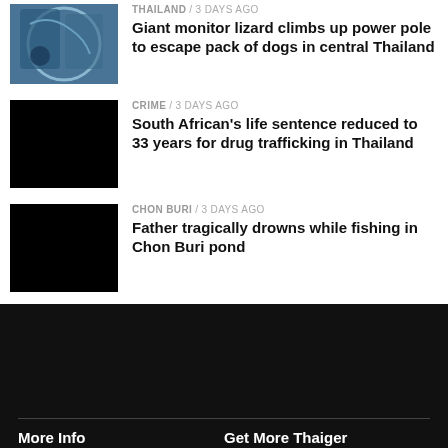[Figure (photo): Monitor lizard on power pole, photo thumbnail]
THAILAND / 3 days ago
Giant monitor lizard climbs up power pole to escape pack of dogs in central Thailand
[Figure (photo): Black/dark thumbnail image for crime story]
CRIME / 3 days ago
South African's life sentence reduced to 33 years for drug trafficking in Thailand
[Figure (photo): Black/dark thumbnail image for drowning story]
CHON BURI / 3 days ago
Father tragically drowns while fishing in Chon Buri pond
More Info   Get More Thaiger